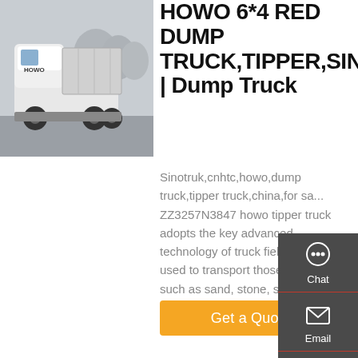[Figure (photo): HOWO 6x4 dump truck / tipper truck, rear-side view, white cab, industrial yard background]
HOWO 6*4 RED DUMP TRUCK,TIPPER,SINC | Dump Truck
Sinotruk,cnhtc,howo,dump truck,tipper truck,china,for sa... ZZ3257N3847 howo tipper truck adopts the key advanced technology of truck field and is used to transport those materials such as sand, stone, soil, garbage, building materials, coal, ore, grain and farm products.
Get a Quote